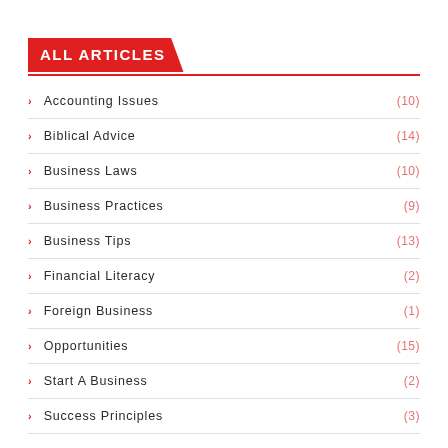ALL ARTICLES
Accounting Issues (10)
Biblical Advice (14)
Business Laws (10)
Business Practices (9)
Business Tips (13)
Financial Literacy (2)
Foreign Business (1)
Opportunities (15)
Start A Business (2)
Success Principles (3)